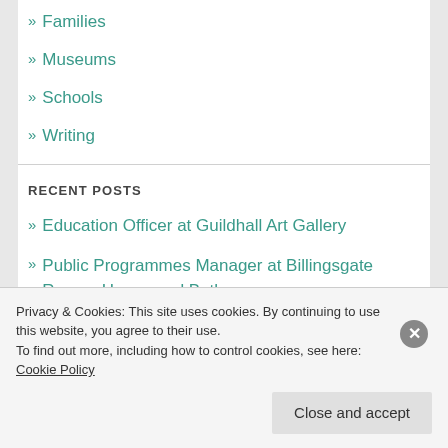» Families
» Museums
» Schools
» Writing
RECENT POSTS
» Education Officer at Guildhall Art Gallery
» Public Programmes Manager at Billingsgate Roman House and Baths
» Stone Age woman at the Chiltern Open Air Museum
Privacy & Cookies: This site uses cookies. By continuing to use this website, you agree to their use.
To find out more, including how to control cookies, see here: Cookie Policy
Close and accept